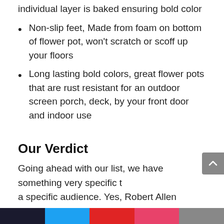individual layer is baked ensuring bold color
Non-slip feet, Made from foam on bottom of flower pot, won't scratch or scoff up your floors
Long lasting bold colors, great flower pots that are rust resistant for an outdoor screen porch, deck, by your front door and indoor use
Our Verdict
Going ahead with our list, we have something very specific to a specific audience. Yes, Robert Allen Mpt01603 Ironstone Chamomile has a very selective audience with specific taste. It satisfies customer expectations (Given that your expectations don't cross a limit) and it adds value for money